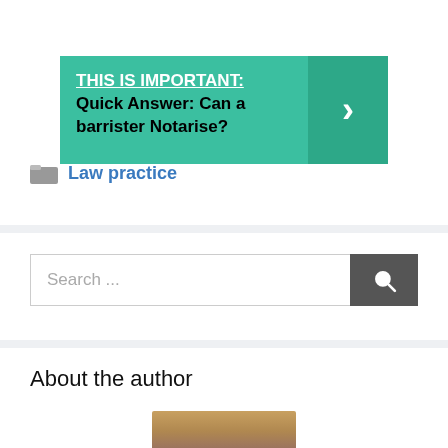[Figure (infographic): Green banner with underlined bold text 'THIS IS IMPORTANT:' followed by 'Quick Answer: Can a barrister Notarise?' and a dark green arrow button on the right]
Law practice
[Figure (screenshot): Search bar with placeholder text 'Search ...' and a dark grey search button with magnifying glass icon]
About the author
[Figure (photo): Partial photo of a person (author), showing top of head with blonde/brown hair, cropped at bottom of page]